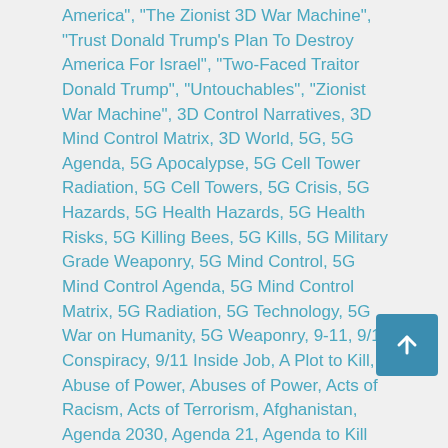America", "The Zionist 3D War Machine", "Trust Donald Trump's Plan To Destroy America For Israel", "Two-Faced Traitor Donald Trump", "Untouchables", "Zionist War Machine", 3D Control Narratives, 3D Mind Control Matrix, 3D World, 5G, 5G Agenda, 5G Apocalypse, 5G Cell Tower Radiation, 5G Cell Towers, 5G Crisis, 5G Hazards, 5G Health Hazards, 5G Health Risks, 5G Killing Bees, 5G Kills, 5G Military Grade Weaponry, 5G Mind Control, 5G Mind Control Agenda, 5G Mind Control Matrix, 5G Radiation, 5G Technology, 5G War on Humanity, 5G Weaponry, 9-11, 9/11 Conspiracy, 9/11 Inside Job, A Plot to Kill, Abuse of Power, Abuses of Power, Acts of Racism, Acts of Terrorism, Afghanistan, Agenda 2030, Agenda 21, Agenda to Kill 90% of World's Population, Agendas, Agents of Chaos, Agents of Satan, Agents of the Apocalypse, Agents of the Mossad, AI, AI (Artificial Intelligence), AI Agenda, AI Control Matrix, AI Mind Control Matrix, Alan Dershowitz, Alex Acosta, Alien Hybrid Clones, Alien Implants, Alien Technology, Alien Weaponry, Alternative Media, America, American Government, American